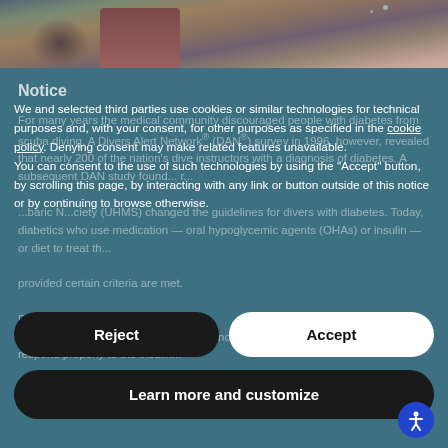[Figure (photo): Partial view of a person's lower body in dark red/maroon leggings near a rocky surface, cropped photo strip at top of page]
Notice
For many years the medical community discouraged people with diabetes from scuba diving. A Divers Alert Network® (DAN®) survey in 1996, however, revealed that nearly 200 of the nation's dive instructors with a diagnosis of diabetes. A subsequent DAN study found... r... baric N...ciety (UHMS) changed the guidelines for divers with diabetes. Today, diabetics who use medication — oral hypoglycemic agents (OHAs) or insulin — or diet to treat th... provided certain criteria are met.
We and selected third parties use cookies or similar technologies for technical purposes and, with your consent, for other purposes as specified in the cookie policy. Denying consent may make related features unavailable.
You can consent to the use of such technologies by using the "Accept" button, by scrolling this page, by interacting with any link or button outside of this notice or by continuing to browse otherwise.
Reject
Accept
Learn more and customize